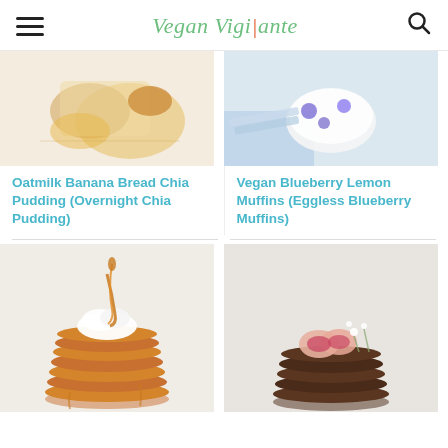Vegan Vigilante
[Figure (photo): Food photo of oatmilk banana bread chia pudding with dried citrus and spices on a light background]
Oatmilk Banana Bread Chia Pudding (Overnight Chia Pudding)
[Figure (photo): Food photo of vegan blueberry lemon muffins with a blue striped cloth and bowl in background]
Vegan Blueberry Lemon Muffins (Eggless Blueberry Muffins)
[Figure (photo): Stack of vegan pancakes drizzled with caramel sauce and whipped cream on a light background]
[Figure (photo): Stack of chocolate fig rounds topped with sliced fresh figs and small white flowers on a marble background]